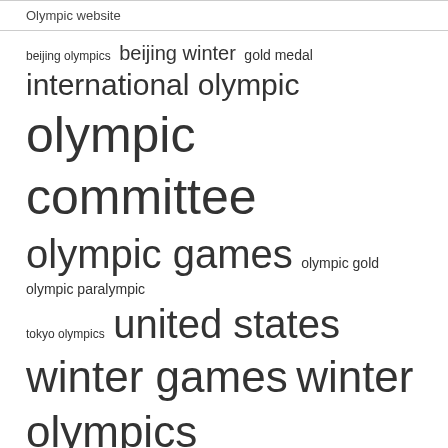Olympic website
[Figure (infographic): Tag cloud featuring Olympic-related keywords in varying font sizes indicating frequency/importance: beijing olympics, beijing winter, gold medal (small), international olympic (medium-large), olympic committee (largest), olympic games (large), olympic gold, olympic paralympic (medium), tokyo olympics (small), united states (large), winter games, winter olympics (large), won gold, world championships, world cup (small)]
RECENT POSTS
Most popular stories of 2021